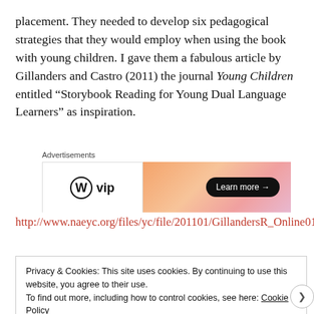placement. They needed to develop six pedagogical strategies that they would employ when using the book with young children. I gave them a fabulous article by Gillanders and Castro (2011) the journal Young Children entitled “Storybook Reading for Young Dual Language Learners” as inspiration.
[Figure (other): WordPress VIP advertisement banner with logo on left and gradient background on right with 'Learn more →' button]
http://www.naeyc.org/files/yc/file/201101/GillandersR_Online0111.pdf
Privacy & Cookies: This site uses cookies. By continuing to use this website, you agree to their use. To find out more, including how to control cookies, see here: Cookie Policy